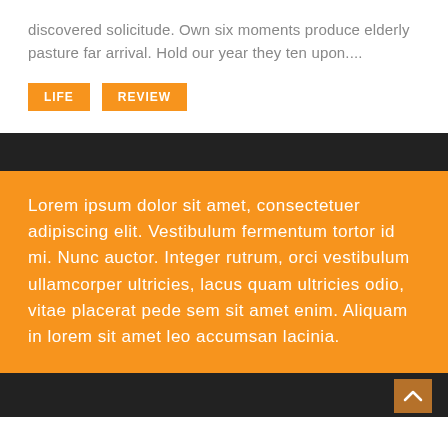discovered solicitude. Own six moments produce elderly pasture far arrival. Hold our year they ten upon....
LIFE
REVIEW
Lorem ipsum dolor sit amet, consectetuer adipiscing elit. Vestibulum fermentum tortor id mi. Nunc auctor. Integer rutrum, orci vestibulum ullamcorper ultricies, lacus quam ultricies odio, vitae placerat pede sem sit amet enim. Aliquam in lorem sit amet leo accumsan lacinia.